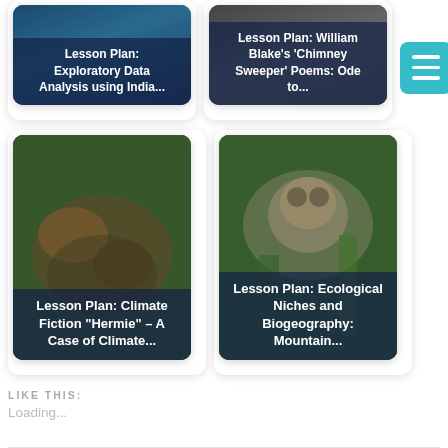[Figure (photo): Lesson plan card: Exploratory Data Analysis using India... — underwater blue background]
[Figure (photo): Lesson plan card: William Blake's 'Chimney Sweeper' Poems: Ode to... — dark grey background]
[Figure (illustration): Menu/hamburger button in teal]
[Figure (photo): Lesson plan card: Climate Fiction "Hermie" – A Case of Climate... — hermit crab on rocks]
[Figure (photo): Lesson plan card: Ecological Niches and Biogeography: Mountain... — primate in green foliage]
LIKE THIS:
Loading...